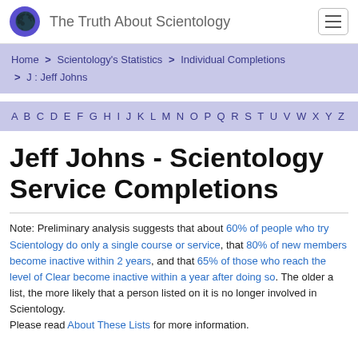The Truth About Scientology
Home > Scientology's Statistics > Individual Completions > J : Jeff Johns
A B C D E F G H I J K L M N O P Q R S T U V W X Y Z
Jeff Johns - Scientology Service Completions
Note: Preliminary analysis suggests that about 60% of people who try Scientology do only a single course or service, that 80% of new members become inactive within 2 years, and that 65% of those who reach the level of Clear become inactive within a year after doing so. The older a list, the more likely that a person listed on it is no longer involved in Scientology.
Please read About These Lists for more information.